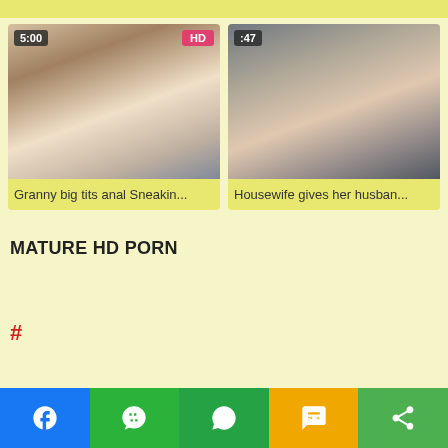[Figure (screenshot): Top partial yellow bar]
[Figure (photo): Video thumbnail: kitchen scene with people, badge 5:00 and HD]
Granny big tits anal Sneakin...
[Figure (photo): Video thumbnail: bathroom/bathtub scene with two people, badge 47]
Housewife gives her husban...
MATURE HD PORN
#